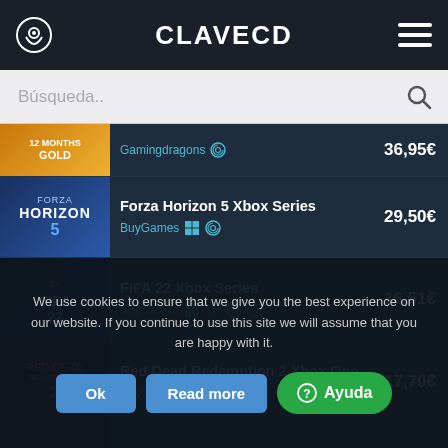CLAVECD
Búsqueda..
Gamingdragons — 36,95€
Forza Horizon 5 Xbox Series — BuyGames — 29,50€
FIFA 22 Xbox Series — BuyGames — 16,51€
Red Dead Redemption 2 Xbox One — BuyGames — 17,70€
Sekiro Shadows Die Twice Xbox O... — BuyGames — 16,39€
FAR CRY 6 Xbox One — 19,01€
We use cookies to ensure that we give you the best experience on our website. If you continue to use this site we will assume that you are happy with it.
Ok | Read more | Ayuda